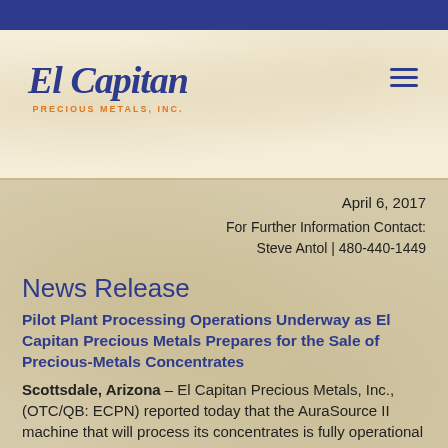[Figure (logo): El Capitan Precious Metals, Inc. logo with italic blue text and orange subtitle]
April 6, 2017
For Further Information Contact:
Steve Antol | 480-440-1449
News Release
Pilot Plant Processing Operations Underway as El Capitan Precious Metals Prepares for the Sale of Precious-Metals Concentrates
Scottsdale, Arizona – El Capitan Precious Metals, Inc., (OTC/QB: ECPN) reported today that the AuraSource II machine that will process its concentrates is fully operational